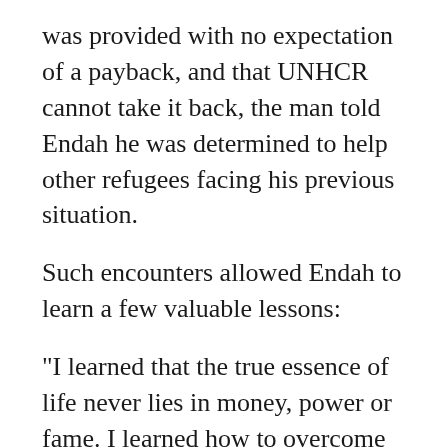was provided with no expectation of a payback, and that UNHCR cannot take it back, the man told Endah he was determined to help other refugees facing his previous situation.
Such encounters allowed Endah to learn a few valuable lessons:
"I learned that the true essence of life never lies in money, power or fame. I learned how to overcome difficulties and to always look at the bright side of life, even during some of the most challenging times."